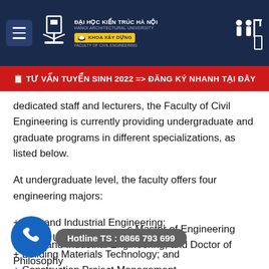ĐẠI HỌC KIẾN TRÚC HÀ NỘI – KHOA XÂY DỰNG / FACULTY OF CIVIL ENGINEERING
📋 TƯ VẤN TUYỂN SINH 2022 => ĐĂNG KÝ NHANH TẠI ĐÂY
dedicated staff and lecturers, the Faculty of Civil Engineering is currently providing undergraduate and graduate programs in different specializations, as listed below.
At undergraduate level, the faculty offers four engineering majors:
+ Civil and Industrial Engineering;
+ Urban Underground Engineering;
+ Building Materials Technology; and
+ Construction Project Management.
At graduate level, the faculty offers Master of Engineering in Civil and Industrial Engineering, and Doctor of Philosophy
Hotline TS : 0866 793 699